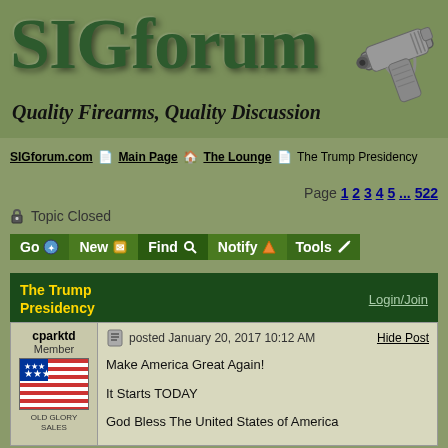[Figure (screenshot): SIGforum website header with logo text 'SIGforum' in large dark green 3D letters, subtitle 'Quality Firearms, Quality Discussion', and a handgun image in the top right corner]
SIGforum.com [icon] Main Page [icon] The Lounge [icon] The Trump Presidency
Page 1 2 3 4 5 ... 522
🔒 Topic Closed
Go [icon] New [icon] Find [icon] Notify [icon] Tools [icon]
The Trump Presidency
Login/Join
cparktd Member
posted January 20, 2017 10:12 AM
Hide Post
Make America Great Again!

It Starts TODAY

God Bless The United States of America

TD